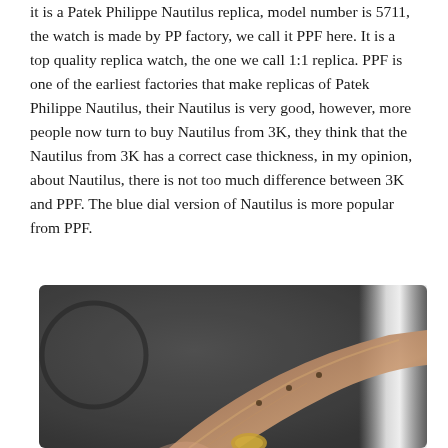it is a Patek Philippe Nautilus replica, model number is 5711, the watch is made by PP factory, we call it PPF here. It is a top quality replica watch, the one we call 1:1 replica. PPF is one of the earliest factories that make replicas of Patek Philippe Nautilus, their Nautilus is very good, however, more people now turn to buy Nautilus from 3K, they think that the Nautilus from 3K has a correct case thickness, in my opinion, about Nautilus, there is not too much difference between 3K and PPF. The blue dial version of Nautilus is more popular from PPF.
[Figure (photo): Close-up photo of a watch strap/bracelet held in hand, with a dark grey surface and a silver object (possibly laptop or stand) visible in the background. A circular ring shadow is visible on the left side of the surface.]